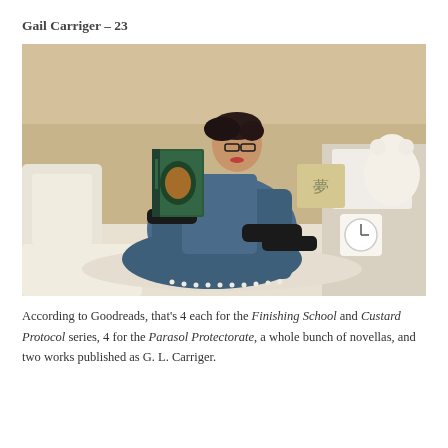Gail Carriger – 23
[Figure (photo): Woman wearing a blue patterned dress and black gloves, sitting on a bed reading a green hardcover book. She has short dark hair and glasses. In the background are white pillows, a stuffed white bear, and a clock.]
According to Goodreads, that's 4 each for the Finishing School and Custard Protocol series, 4 for the Parasol Protectorate, a whole bunch of novellas, and two works published as G. L. Carriger.